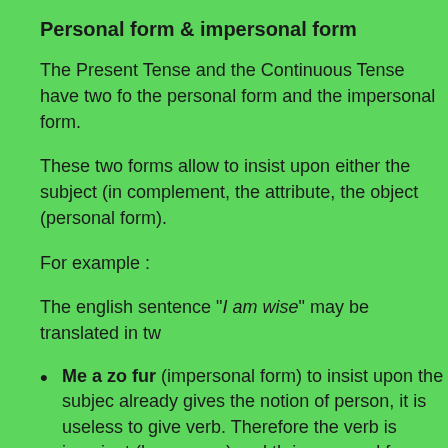Personal form & impersonal form
The Present Tense and the Continuous Tense have two fo the personal form and the impersonal form.
These two forms allow to insist upon either the subject (in complement, the attribute, the object (personal form).
For example :
The english sentence "I am wise" may be translated in tw
Me a zo fur (impersonal form) to insist upon the subjec already gives the notion of person, it is useless to give verb. Therefore the verb is invariant (here : a zo) and th impersonal form.
Fur ez on (personal form) to insist upon the attribute (F according to the person since the notion of person is no